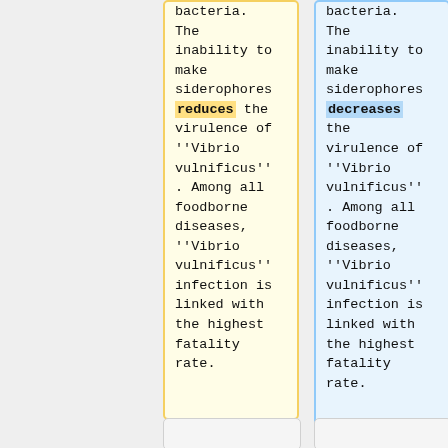bacteria. The inability to make siderophores reduces the virulence of ''Vibrio vulnificus'' . Among all foodborne diseases, ''Vibrio vulnificus'' infection is linked with the highest fatality rate.
bacteria. The inability to make siderophores decreases the virulence of ''Vibrio vulnificus'' . Among all foodborne diseases, ''Vibrio vulnificus'' infection is linked with the highest fatality rate.